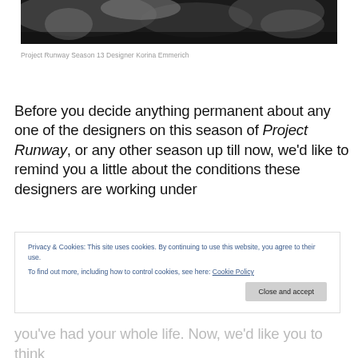[Figure (photo): Black and white photograph of Project Runway Season 13 Designer Korina Emmerich, cropped showing partial figure]
Project Runway Season 13 Designer Korina Emmerich
Before you decide anything permanent about any one of the designers on this season of Project Runway, or any other season up till now, we'd like to remind you a little about the conditions these designers are working under
Privacy & Cookies: This site uses cookies. By continuing to use this website, you agree to their use.
To find out more, including how to control cookies, see here: Cookie Policy
you've had your whole life. Now, we'd like you to think